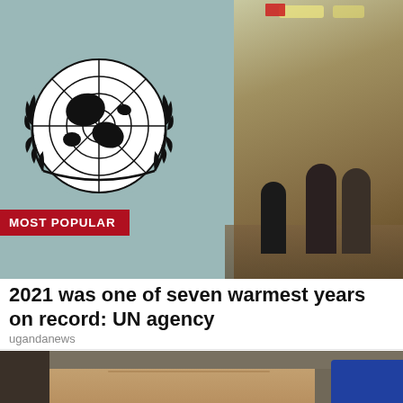[Figure (photo): UN emblem logo on a teal wall in a hallway with people walking in the background. A red 'MOST POPULAR' badge overlays the bottom-left.]
2021 was one of seven warmest years on record: UN agency
ugandanews
[Figure (photo): Close-up photo of a gray-haired man's face, partially cropped, with another person wearing a blue cap visible at right.]